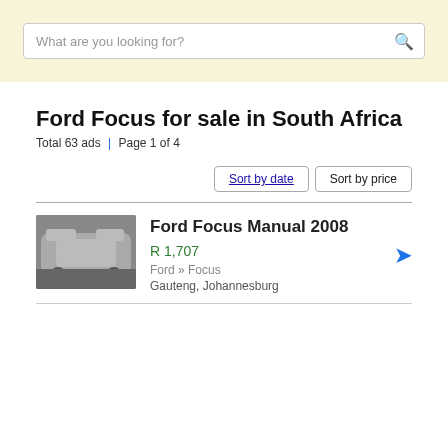[Figure (screenshot): Search bar with placeholder text 'What are you looking for?' and a search icon, on a light yellow background banner]
Ford Focus for sale in South Africa
Total 63 ads | Page 1 of 4
Sort by date  Sort by price
Ford Focus Manual 2008
R 1,707
Ford » Focus
Gauteng, Johannesburg